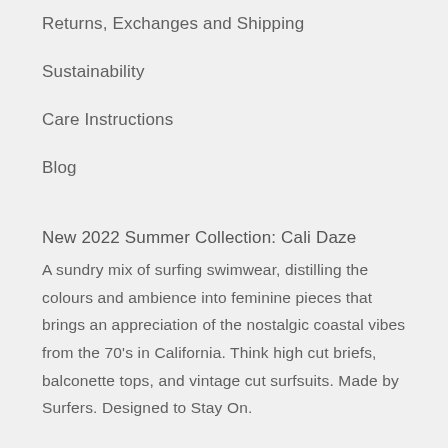Returns, Exchanges and Shipping
Sustainability
Care Instructions
Blog
New 2022 Summer Collection: Cali Daze
A sundry mix of surfing swimwear, distilling the colours and ambience into feminine pieces that brings an appreciation of the nostalgic coastal vibes from the 70's in California. Think high cut briefs, balconette tops, and vintage cut surfsuits. Made by Surfers. Designed to Stay On.